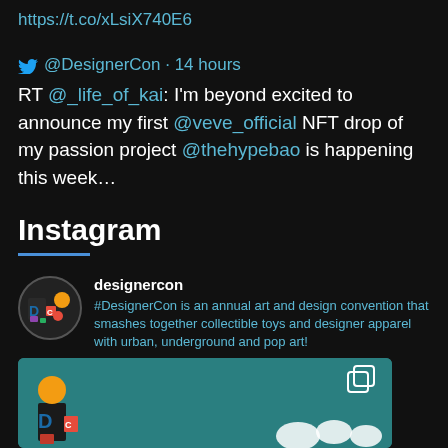https://t.co/xLsiX740E6
@DesignerCon · 14 hours
RT @_life_of_kai: I'm beyond excited to announce my first @veve_official NFT drop of my passion project @thehypebao is happening this week…
Instagram
designercon
#DesignerCon is an annual art and design convention that smashes together collectible toys and designer apparel with urban, underground and pop art!
[Figure (screenshot): Instagram post preview showing DesignerCon artwork on teal background with collectible toy figures]